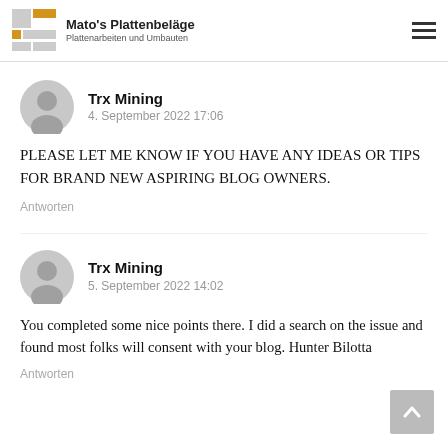Mato's Plattenbeläge – Plattenarbeiten und Umbauten
Trx Mining
4. September 2022 17:06
PLEASE LET ME KNOW IF YOU HAVE ANY IDEAS OR TIPS FOR BRAND NEW ASPIRING BLOG OWNERS.
Antworten
Trx Mining
5. September 2022 14:02
You completed some nice points there. I did a search on the issue and found most folks will consent with your blog. Hunter Bilotta
Antworten